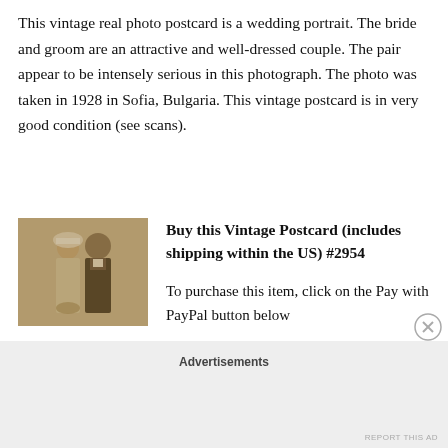This vintage real photo postcard is a wedding portrait. The bride and groom are an attractive and well-dressed couple. The pair appear to be intensely serious in this photograph. The photo was taken in 1928 in Sofia, Bulgaria. This vintage postcard is in very good condition (see scans).
[Figure (photo): Sepia-toned vintage wedding photo showing a bride and groom from 1928, Sofia, Bulgaria]
Buy this Vintage Postcard (includes shipping within the US) #2954

To purchase this item, click on the Pay with PayPal button below
Advertisements